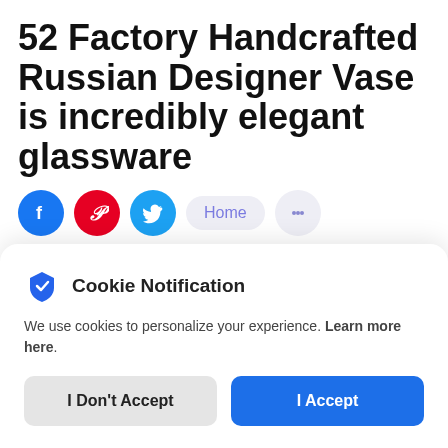52 Factory Handcrafted Russian Designer Vase is incredibly elegant glassware
[Figure (other): Social sharing icons: Facebook (blue circle with f), Pinterest (red circle with P), Twitter (cyan circle with bird), Home button (light purple pill), Message button (light purple circle with dots)]
Fashioned after the image of a Russian cathedral, the 52 Factory Handcrafted Russian Designer Vase is...
[Figure (screenshot): Cookie Notification modal overlay with shield icon, text about cookie personalization with Learn more here link, and two buttons: I Don't Accept and I Accept]